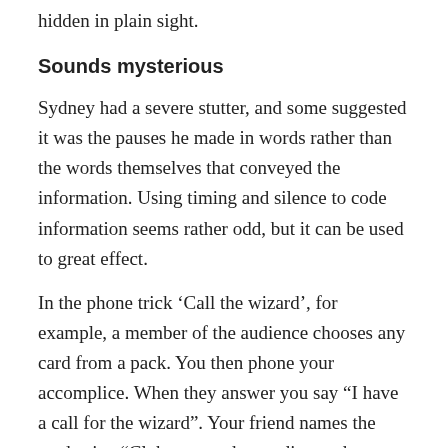hidden in plain sight.
Sounds mysterious
Sydney had a severe stutter, and some suggested it was the pauses he made in words rather than the words themselves that conveyed the information. Using timing and silence to code information seems rather odd, but it can be used to great effect.
In the phone trick ‘Call the wizard’, for example, a member of the audience chooses any card from a pack. You then phone your accomplice. When they answer you say “I have a call for the wizard”. Your friend names the card suits: “Clubs … spades … diamonds … hearts”. When they reach the suit of the chosen card you say: “Thanks”.